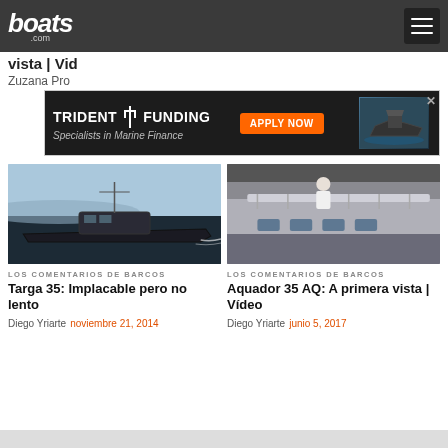boats.com
vista | Vid
Zuzana Pro
[Figure (screenshot): Trident Funding advertisement banner — 'TRIDENT FUNDING | Specialists in Marine Finance | APPLY NOW' with a boat image on dark background]
[Figure (photo): A dark-hulled patrol/fishing boat underway on water with cabin, antennas, and crew visible]
LOS COMENTARIOS DE BARCOS
Targa 35: Implacable pero no lento
Diego Yriarte  noviembre 21, 2014
[Figure (photo): A man on the upper deck of a large modern yacht/motoryacht at a boat show indoors]
LOS COMENTARIOS DE BARCOS
Aquador 35 AQ: A primera vista | Vídeo
Diego Yriarte  junio 5, 2017